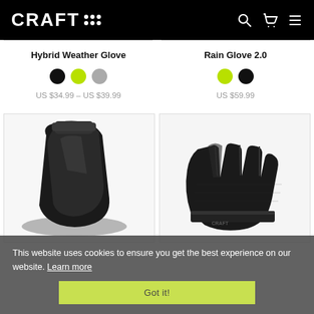CRAFT
Hybrid Weather Glove
US $34.99 – US $39.99
Rain Glove 2.0
US $59.99
[Figure (photo): Product image of a black cycling shoe cover/glove]
[Figure (photo): Product image of black fingerless cycling gloves]
This website uses cookies to ensure you get the best experience on our website. Learn more